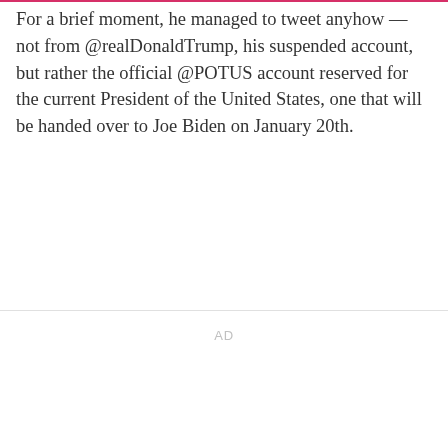For a brief moment, he managed to tweet anyhow — not from @realDonaldTrump, his suspended account, but rather the official @POTUS account reserved for the current President of the United States, one that will be handed over to Joe Biden on January 20th.
AD